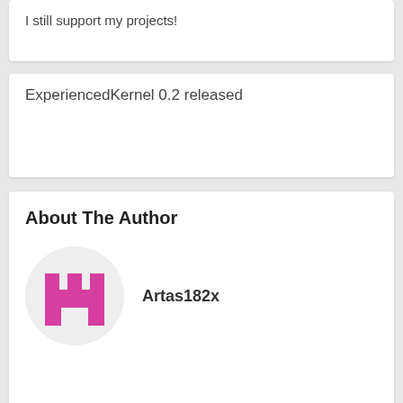I still support my projects!
ExperiencedKernel 0.2 released
About The Author
[Figure (illustration): Author avatar: circular light grey background with a pink/magenta castle/rook chess piece icon]
Artas182x